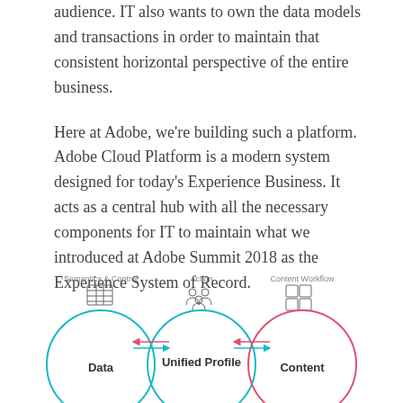audience. IT also wants to own the data models and transactions in order to maintain that consistent horizontal perspective of the entire business.
Here at Adobe, we're building such a platform. Adobe Cloud Platform is a modern system designed for today's Experience Business. It acts as a central hub with all the necessary components for IT to maintain what we introduced at Adobe Summit 2018 as the Experience System of Record.
[Figure (infographic): Three overlapping circles labeled Data, Unified Profile, and Content, with icons above each. Labels above: Semantics & Control (Data), Action (Unified Profile), Content Workflow (Content). Arrows (teal and red/pink) show flow between the circles.]